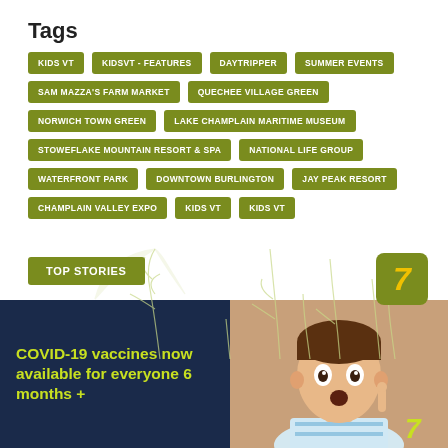Tags
KIDS VT
KIDSVT - FEATURES
DAYTRIPPER
SUMMER EVENTS
SAM MAZZA'S FARM MARKET
QUECHEE VILLAGE GREEN
NORWICH TOWN GREEN
LAKE CHAMPLAIN MARITIME MUSEUM
STOWEFLAKE MOUNTAIN RESORT & SPA
NATIONAL LIFE GROUP
WATERFRONT PARK
DOWNTOWN BURLINGTON
JAY PEAK RESORT
CHAMPLAIN VALLEY EXPO
KIDS VT
KIDS VT
TOP STORIES
[Figure (illustration): Plant/corn stalk line drawing illustration in background]
[Figure (photo): Child with surprised expression pointing finger, COVID-19 vaccine advertisement]
COVID-19 vaccines now available for everyone 6 months +